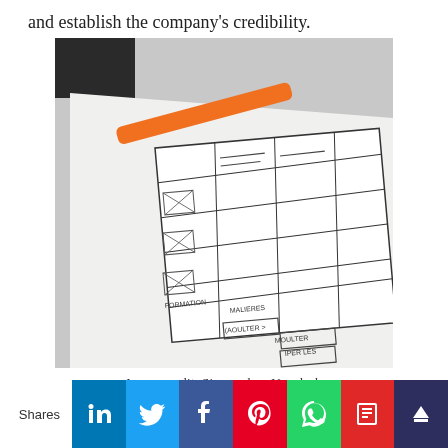and establish the company's credibility.
[Figure (photo): A hand-drawn wireframe/UX sketch on paper with an orange marker pen resting on top, laid on a desk. The sketch shows multiple UI layout boxes with handwritten annotations.]
Image credit: Sigmund on Unsplash
Shares
[Figure (infographic): Social sharing buttons row: LinkedIn (blue), Twitter (light blue), Facebook (dark blue), Pinterest (red), WhatsApp (green), Flipboard (red), and a navy icon.]